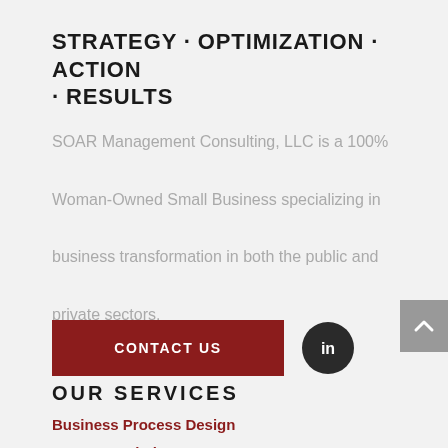STRATEGY · OPTIMIZATION · ACTION · RESULTS
SOAR Management Consulting, LLC is a 100% Woman-Owned Small Business specializing in business transformation in both the public and private sectors.
[Figure (other): Contact Us button (dark red/maroon rectangle with white bold text) and LinkedIn circular icon (dark circle with 'in' logo)]
[Figure (other): Gray scroll-to-top button with upward chevron arrow on right edge of page]
OUR SERVICES
Business Process Design
Human Capital
Intelligence Planning & Assessment
IT Systems Analysis / Requirements Management